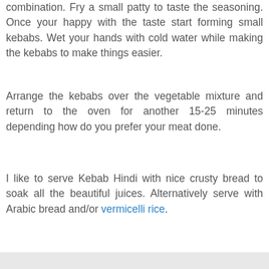combination. Fry a small patty to taste the seasoning. Once your happy with the taste start forming small kebabs. Wet your hands with cold water while making the kebabs to make things easier.
Arrange the kebabs over the vegetable mixture and return to the oven for another 15-25 minutes depending how do you prefer your meat done.
I like to serve Kebab Hindi with nice crusty bread to soak all the beautiful juices. Alternatively serve with Arabic bread and/or vermicelli rice.